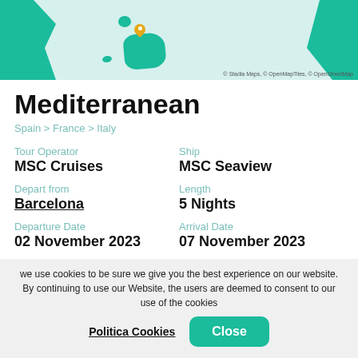[Figure (map): Map showing Mediterranean region with teal land masses including Spain coastline on left, Sardinia on right, and Balearic Islands (Mallorca) in center with an orange map pin marker. Attribution: © Stadia Maps, © OpenMapTiles, © OpenStreetMap]
Mediterranean
Spain > France > Italy
Tour Operator
MSC Cruises
Ship
MSC Seaview
Depart from
Barcelona
Length
5 Nights
Departure Date
02 November 2023
Arrival Date
07 November 2023
we use cookies to be sure we give you the best experience on our website. By continuing to use our Website, the users are deemed to consent to our use of the cookies
Politica Cookies
Close